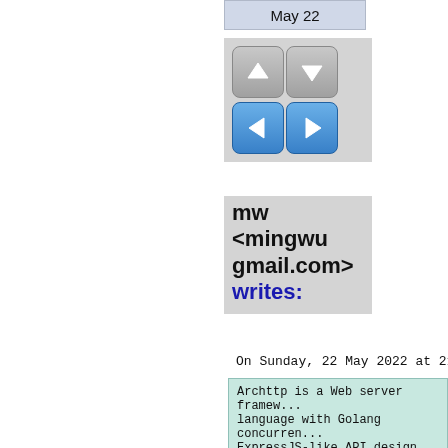May 22
[Figure (screenshot): Navigation panel with four arrow buttons: up, down, left, right in gray and blue styles]
mw <mingwu gmail.com> writes:
On Sunday, 22 May 2022 at 21:
Archttp is a Web server framew... language with Golang concurren... ExpressJS-like API design, whi...

1. Simple
2. Flexible
3. Performance

https://github.com/kerisy/arch

```D
import archttp;